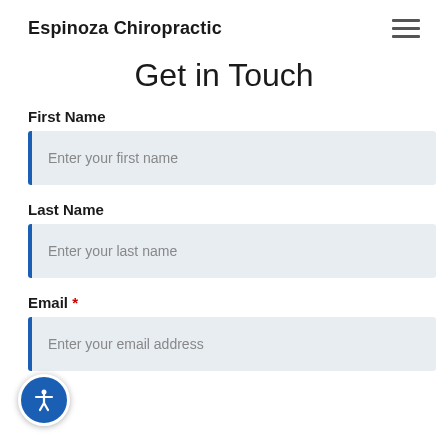Espinoza Chiropractic
Get in Touch
First Name
Enter your first name
Last Name
Enter your last name
Email *
Enter your email address
Ph